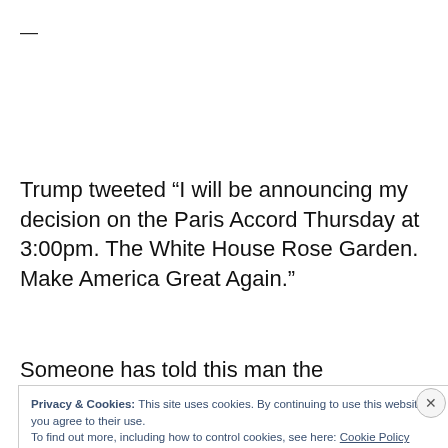—
Trump tweeted “I will be announcing my decision on the Paris Accord Thursday at 3:00pm. The White House Rose Garden.  Make America Great Again.”
Someone has told this man the Presidency is not a reality
Privacy & Cookies: This site uses cookies. By continuing to use this website, you agree to their use.
To find out more, including how to control cookies, see here: Cookie Policy
Close and accept